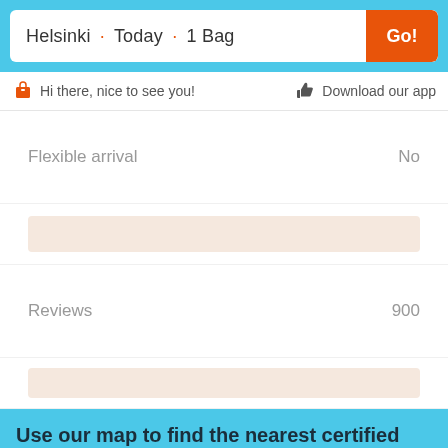Helsinki · Today · 1 Bag
Go!
Hi there, nice to see you!
Download our app
| Field | Value |
| --- | --- |
| Flexible arrival | No |
| Reviews | 900 |
Use our map to find the nearest certified sho...
[Figure (map): Street map of Helsinki showing areas including Taka-Töölö, Kallio, Linjat, with street names Helsinginkatu, Hämeentie visible. Map has zoom controls (+/-) on left side.]